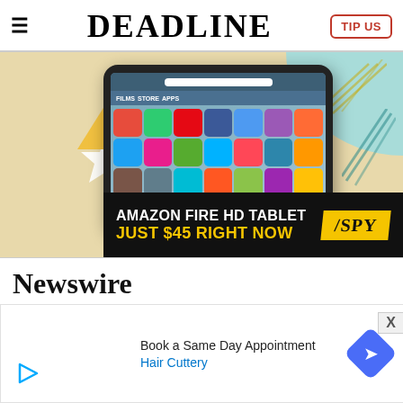≡  DEADLINE  TIP US
[Figure (photo): Advertisement showing an Amazon Fire HD Tablet with colorful app icons on screen, set against a decorative background with teal and yellow shapes. Below the tablet image is a black banner reading 'AMAZON FIRE HD TABLET / SPY' and 'JUST $45 RIGHT NOW']
Newswire
[Figure (screenshot): Advertisement: Book a Same Day Appointment - Hair Cuttery, with a blue navigation/arrow icon and a play button icon. Close button (X) in top right corner.]